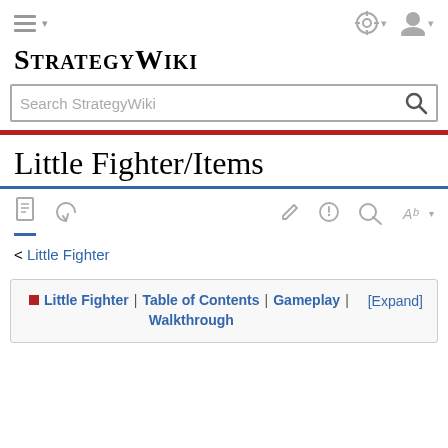StrategyWiki
Little Fighter/Items
< Little Fighter
Little Fighter | Table of Contents | Gameplay | Walkthrough [Expand]